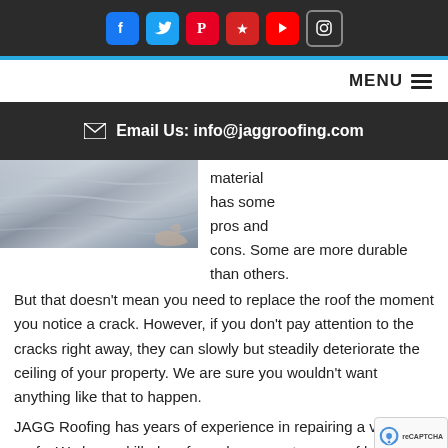Social media icons: Facebook, Twitter, Pinterest, Yelp, YouTube, Instagram
MENU ☰
✉ Email Us: info@jaggroofing.com
[Figure (photo): Photo of roofing material being handled, appears to be metallic/reflective sheeting]
material has some pros and cons. Some are more durable than others. But that doesn't mean you need to replace the roof the moment you notice a crack. However, if you don't pay attention to the cracks right away, they can slowly but steadily deteriorate the ceiling of your property. We are sure you wouldn't want anything like that to happen.
JAGG Roofing has years of experience in repairing a var... roofs. We have skilled roofers who can get your roof back in